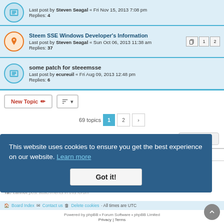Last post by Steven Seagal « Fri Nov 15, 2013 7:08 pm
Replies: 4
Steem SSE Windows Developer's Information
Last post by Steven Seagal « Sun Oct 06, 2013 11:38 am
Replies: 37
some patch for steeemsse
Last post by ecureuil « Fri Aug 09, 2013 12:48 pm
Replies: 6
New Topic  |  Sort  |  69 topics  1  2  >
Jump to
FORUM PERMISSIONS
You cannot post new topics in this forum
You cannot reply to topics in this forum
You cannot edit your posts in this forum
You cannot delete your posts in this forum
You cannot post attachments in this forum
This website uses cookies to ensure you get the best experience on our website. Learn more
Got it!
Board Index | Contact us | Delete cookies | All times are UTC
Powered by phpBB • Forum Software • phpBB Limited
Privacy | Terms